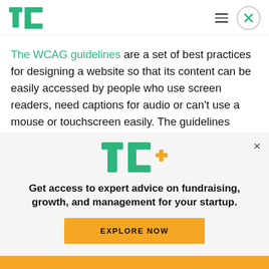TechCrunch logo, hamburger menu, close button
The WCAG guidelines are a set of best practices for designing a website so that its content can be easily accessed by people who use screen readers, need captions for audio or can't use a mouse or touchscreen easily. The guidelines aren't particularly hard to meet, but as many have pointed
[Figure (logo): TechCrunch+ logo (TC+ in green and yellow)]
Get access to expert advice on fundraising, growth, and management for your startup.
EXPLORE NOW